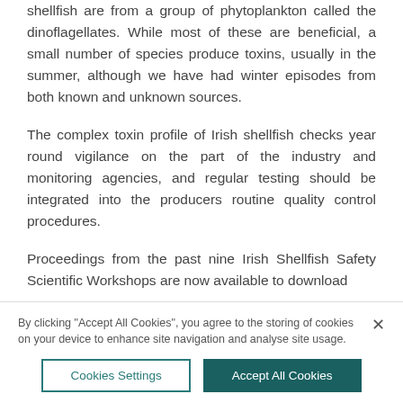shellfish are from a group of phytoplankton called the dinoflagellates. While most of these are beneficial, a small number of species produce toxins, usually in the summer, although we have had winter episodes from both known and unknown sources.
The complex toxin profile of Irish shellfish checks year round vigilance on the part of the industry and monitoring agencies, and regular testing should be integrated into the producers routine quality control procedures.
Proceedings from the past nine Irish Shellfish Safety Scientific Workshops are now available to download
By clicking "Accept All Cookies", you agree to the storing of cookies on your device to enhance site navigation and analyse site usage.